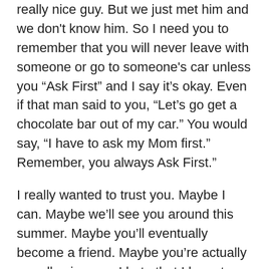really nice guy. But we just met him and we don't know him. So I need you to remember that you will never leave with someone or go to someone's car unless you “Ask First” and I say it’s okay. Even if that man said to you, “Let’s go get a chocolate bar out of my car.” You would say, “I have to ask my Mom first.” Remember, you always Ask First.”
I really wanted to trust you. Maybe I can. Maybe we’ll see you around this summer. Maybe you’ll eventually become a friend. Maybe you’re actually a really nice guy. I hate that I have to become paranoid. But that’s the way it is, sir. This world seems a bit too crazy. My boys are way too precious to me. The thought of them caught up in abduction or trafficking makes my heart pause and my breath stop. They are my life, my joy and my responsibility.
Stay away from my boys.